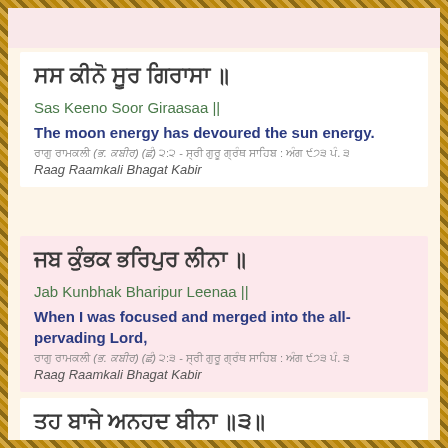ਸਸ ਕੀਨੋ ਸੂਰ ਗਿਰਾਸਾ ॥
Sas Keeno Soor Giraasaa ||
The moon energy has devoured the sun energy.
ਰਾਗੁ ਰਾਮਕਲੀ (ਭ. ਕਬੀਰ) (ਛੰ) ੨:੨ - ਸ੍ਰੀ ਗੁਰੂ ਗ੍ਰੰਥ ਸਾਹਿਬ : ਅੰਗ ੯੭੩ ਪੰ. ੩
Raag Raamkali Bhagat Kabir
ਜਬ ਕੁੰਭਕ ਭਰਿਪੁਰ ਲੀਨਾ ॥
Jab Kunbhak Bharipur Leenaa ||
When I was focused and merged into the all-pervading Lord,
ਰਾਗੁ ਰਾਮਕਲੀ (ਭ. ਕਬੀਰ) (ਛੰ) ੨:੩ - ਸ੍ਰੀ ਗੁਰੂ ਗ੍ਰੰਥ ਸਾਹਿਬ : ਅੰਗ ੯੭੩ ਪੰ. ੩
Raag Raamkali Bhagat Kabir
ਤਹ ਬਾਜੇ ਅਨਹਦ ਬੀਨਾ ॥੩॥
Theh Baajae Anehadh Beenaa ||3||
Then the unstruck sound current began to vibrate